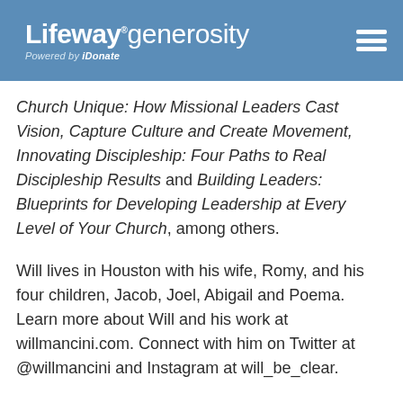Lifeway.generosity Powered by iDonate
Church Unique: How Missional Leaders Cast Vision, Capture Culture and Create Movement, Innovating Discipleship: Four Paths to Real Discipleship Results and Building Leaders: Blueprints for Developing Leadership at Every Level of Your Church, among others.
Will lives in Houston with his wife, Romy, and his four children, Jacob, Joel, Abigail and Poema. Learn more about Will and his work at willmancini.com. Connect with him on Twitter at @willmancini and Instagram at will_be_clear.